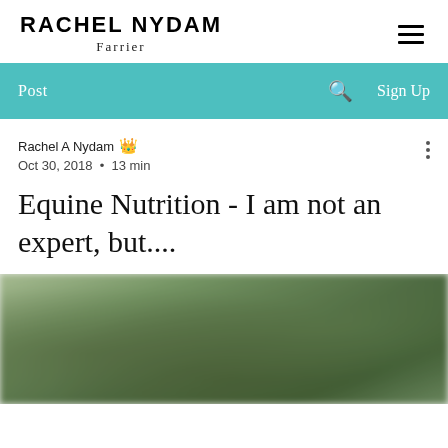RACHEL NYDAM
Farrier
Post  Sign Up
Rachel A Nydam 👑 Admin
Oct 30, 2018 · 13 min
Equine Nutrition - I am not an expert, but....
[Figure (photo): Blurred outdoor photo with green trees/foliage in the background]